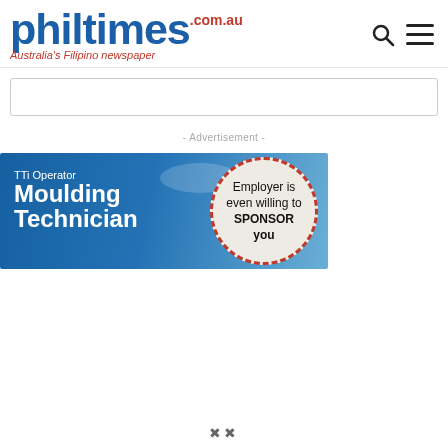[Figure (logo): philtimes.com.au logo — Australia's Filipino newspaper — blue and red masthead]
[Figure (screenshot): Search input box (empty)]
- Advertisement -
[Figure (infographic): TTi Operator Moulding Technician job ad banner on blue sky background. Circular badge reads: Employer is even willing to SPONSOR you]